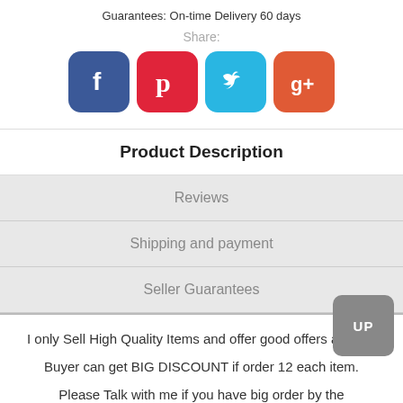Guarantees: On-time Delivery 60 days
Share:
[Figure (infographic): Four social media share buttons: Facebook (blue), Pinterest (red), Twitter (cyan), Google+ (orange-red)]
Product Description
Reviews
Shipping and payment
Seller Guarantees
I only Sell High Quality Items and offer good offers as well.
Buyer can get BIG DISCOUNT if order 12 each item.
Please Talk with me if you have big order by the Trademanager CLICK->
[Figure (illustration): Small image icon at bottom left]